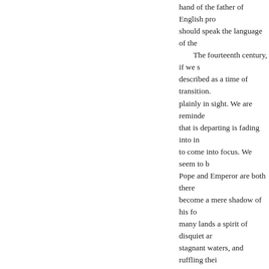hand of the father of English pro should speak the language of the The fourteenth century, if we s described as a time of transition. plainly in sight. We are reminded that is departing is fading into in to come into focus. We seem to b Pope and Emperor are both there become a mere shadow of his for many lands a spirit of disquiet ar stagnant waters, and ruffling thei authority and claims. The long su languages, for it is the century of face to face. Over against the kin stand the burgess and the mercha thinkers and writers like Marsili idea of an orderly independent st an awakening of the human spiri moral dignity of man. The super unworldliness seem to have died and the heart. Everywhere great Scripture, realism and nominalis In an age thus profoundly agi